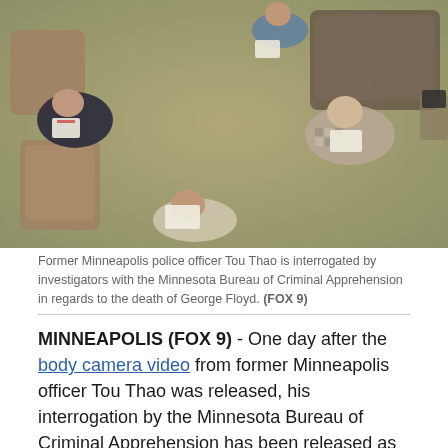[Figure (photo): Overhead/bird's-eye view photo of former Minneapolis police officer Tou Thao being interrogated by investigators in a room with chairs and a couch, all holding papers.]
Former Minneapolis police officer Tou Thao is interrogated by investigators with the Minnesota Bureau of Criminal Apprehension in regards to the death of George Floyd. (FOX 9)
MINNEAPOLIS (FOX 9) - One day after the body camera video from former Minneapolis officer Tou Thao was released, his interrogation by the Minnesota Bureau of Criminal Apprehension has been released as well.
In the video, which lasts nearly two hours, Thao recounts what led up to George Floyd's death and that they went to Cup Foods as backup, saying they know